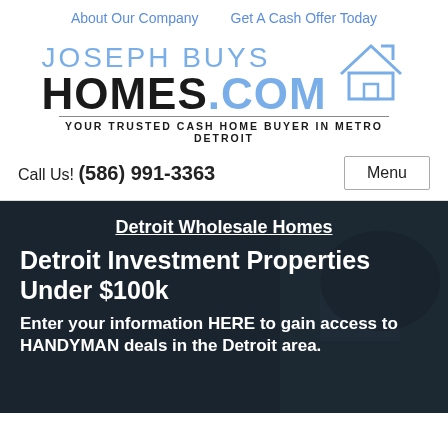About Our Company   Get A Cash Offer Today
[Figure (logo): Joseph Buys Homes.com logo with house outline icon and tagline YOUR TRUSTED CASH HOME BUYER IN METRO DETROIT]
Call Us! (586) 991-3363
Detroit Wholesale Homes
Detroit Investment Properties Under $100k
Enter your information HERE to gain access to HANDYMAN deals in the Detroit area.